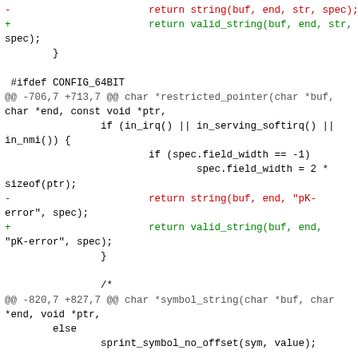Code diff showing changes to string() -> valid_string() replacements in Linux kernel vsprintf.c, covering restricted_pointer and symbol_string functions.